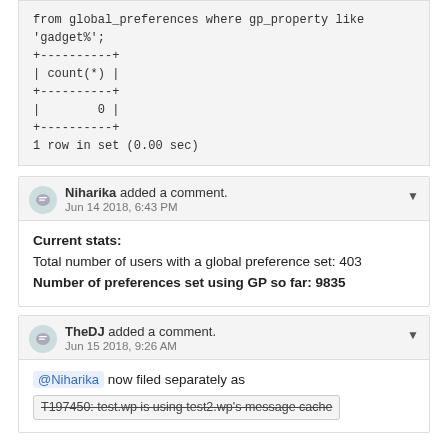from global_preferences where gp_property like
'gadget%';
+----------+
| count(*) |
+----------+
|        0 |
+----------+
1 row in set (0.00 sec)
Niharika added a comment. Jun 14 2018, 6:43 PM
Current stats:
Total number of users with a global preference set: 403
Number of preferences set using GP so far: 9835
TheDJ added a comment. Jun 15 2018, 9:26 AM
@Niharika now filed separately as T197450: test.wp is using test2.wp's message cache